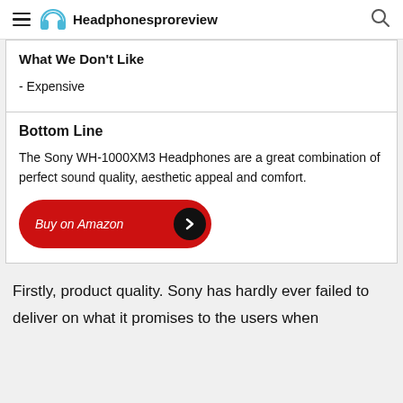Headphonesproreview
What We Don't Like
- Expensive
Bottom Line
The Sony WH-1000XM3 Headphones are a great combination of perfect sound quality, aesthetic appeal and comfort.
Buy on Amazon
Firstly, product quality. Sony has hardly ever failed to deliver on what it promises to the users when